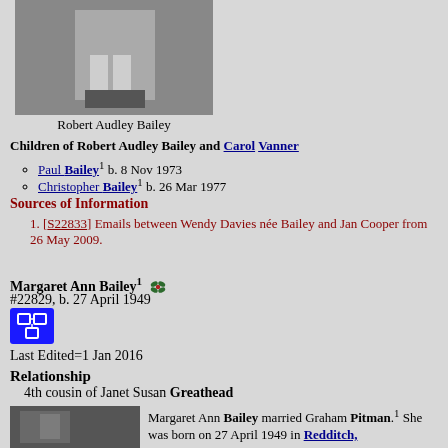[Figure (photo): Black and white photo of Robert Audley Bailey, showing lower body in white clothing]
Robert Audley Bailey
Children of Robert Audley Bailey and Carol Vanner
Paul Bailey1 b. 8 Nov 1973
Christopher Bailey1 b. 26 Mar 1977
Sources of Information
[S22833] Emails between Wendy Davies née Bailey and Jan Cooper from 26 May 2009.
Margaret Ann Bailey1 #22829, b. 27 April 1949
[Figure (illustration): Small green decorative holly/leaf icon]
[Figure (logo): Blue button with white diagram/flowchart icon]
Last Edited=1 Jan 2016
Relationship
4th cousin of Janet Susan Greathead
[Figure (photo): Black and white photograph partially visible at bottom left]
Margaret Ann Bailey married Graham Pitman.1 She was born on 27 April 1949 in Redditch, Worcestershire, England.1 She was the daughter of